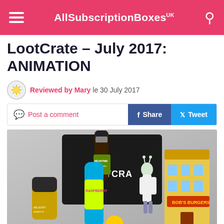AllSubscriptionBoxes UK
LootCrate – July 2017: ANIMATION
Reviewed by Mary le 30 July 2017
Post a comment  Share  Tweet
[Figure (photo): Photo of LootCrate July 2017 ANIMATION box contents including a Goose Island beer can, a Raspberry drink bottle, Rick figure, Bob's Burgers building, and a black LootCrate tote bag]